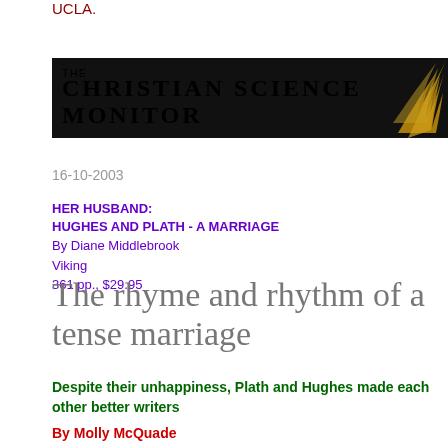UCLA.
[Figure (logo): The Christian Science Monitor newspaper banner/logo on black background with gold swoosh decoration]
16-10-2003
HER HUSBAND: HUGHES AND PLATH - A MARRIAGE
By Diane Middlebrook
Viking
361 pp., $29.95
The rhyme and rhythm of a tense marriage
Despite their unhappiness, Plath and Hughes made each other better writers
By Molly McQuade